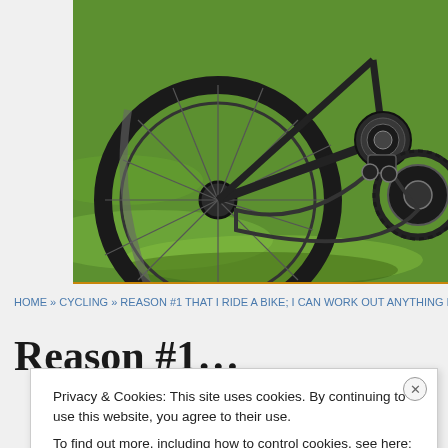[Figure (photo): Close-up photo of a black road bicycle wheel and drivetrain (chain, cassette, chainring visible) resting on bright green grass in sunlight, with shadows cast on the grass.]
HOME » CYCLING » REASON #1 THAT I RIDE A BIKE; I CAN WORK OUT ANYTHING IN 20...
Reason #1...
Privacy & Cookies: This site uses cookies. By continuing to use this website, you agree to their use.
To find out more, including how to control cookies, see here: Cookie Policy
Close and accept